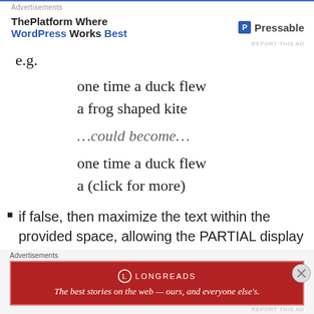Advertisements
[Figure (infographic): Pressable advertisement banner: ThePlatform Where WordPress Works Best, with Pressable logo on the right]
REPORT THIS AD
e.g.
one time a duck flew
a frog shaped kite
…could become…
one time a duck flew
a (click for more)
if false, then maximize the text within the provided space, allowing the PARTIAL display of words before
Advertisements
[Figure (infographic): Longreads advertisement: red background with Longreads logo and tagline 'The best stories on the web — ours, and everyone else's.']
REPORT THIS AD